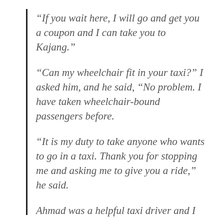“If you wait here, I will go and get you a coupon and I can take you to Kajang.”
“Can my wheelchair fit in your taxi?” I asked him, and he said, “No problem. I have taken wheelchair-bound passengers before.
“It is my duty to take anyone who wants to go in a taxi. Thank you for stopping me and asking me to give you a ride,” he said.
Ahmad was a helpful taxi driver and I